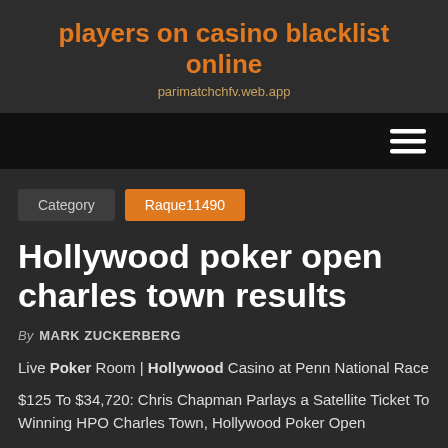players on casino blacklist online
parimatchchfv.web.app
[Figure (other): Navigation bar with hamburger menu icon (three horizontal lines) on the right]
Category   Raque11490
Hollywood poker open charles town results
By MARK ZUCKERBERG
Live Poker Room | Hollywood Casino at Penn National Race
$125 To $34,720: Chris Chapman Parlays a Satellite Ticket To Winning HPO Charles Town, Hollywood Poker Open